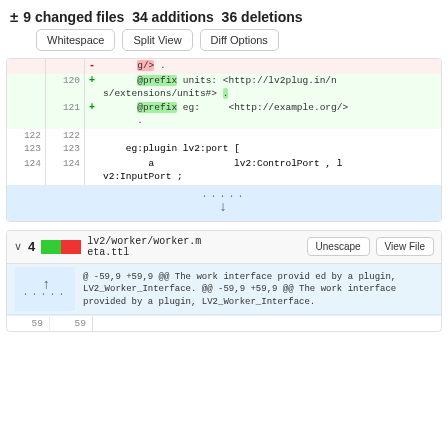± 9 changed files 34 additions 36 deletions
Whitespace | Split View | Diff Options
[Figure (screenshot): Code diff view showing lines 120-124 of a file with additions (green) for @prefix units and @prefix eg lines, and neutral lines for eg:plugin lv2:port and a lv2:ControlPort declarations, plus an expand button.]
[Figure (screenshot): File header for lv2/worker/worker.meta.ttl showing 4 changes with Unescape and View File buttons, a hunk header showing @ -59,9 +59,9 @@ The work interface provided by a plugin, LV2_Worker_Interface, and an expand icon with lines 59 59 below.]